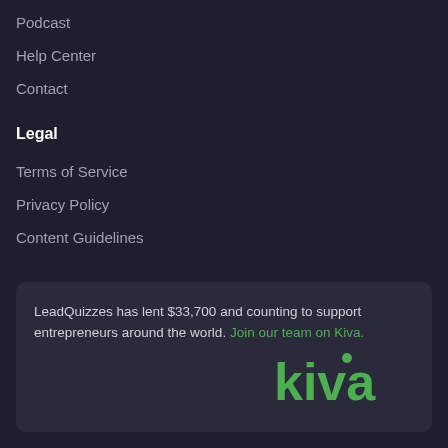Podcast
Help Center
Contact
Legal
Terms of Service
Privacy Policy
Content Guidelines
LeadQuizzes has lent $33,700 and counting to support entrepreneurs around the world. Join our team on Kiva.